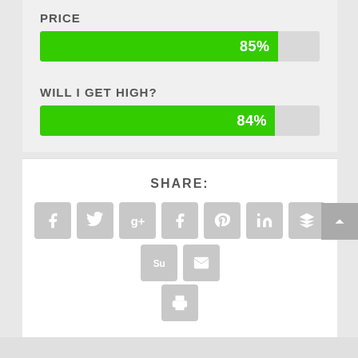PRICE
[Figure (bar-chart): PRICE]
WILL I GET HIGH?
[Figure (bar-chart): WILL I GET HIGH?]
SHARE:
[Figure (infographic): Social sharing icons: Facebook, Twitter, Google+, Tumblr, Pinterest, LinkedIn, Buffer, StumbleUpon, Email, Print]
RATE:
[Figure (infographic): Five gray star rating icons]